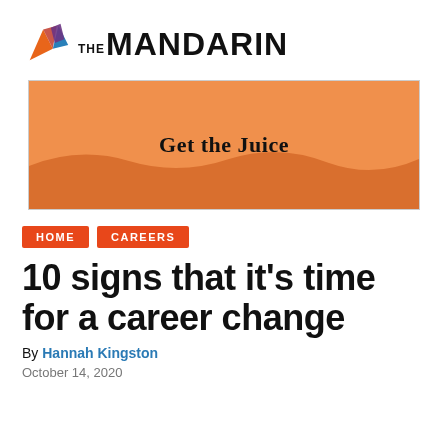[Figure (logo): The Mandarin logo with geometric diamond/arrow shapes in orange, red, blue and purple above the text 'THE MANDARIN']
[Figure (infographic): Orange banner advertisement with wavy bottom shape reading 'Get the Juice']
HOME   CAREERS
10 signs that it's time for a career change
By Hannah Kingston
October 14, 2020